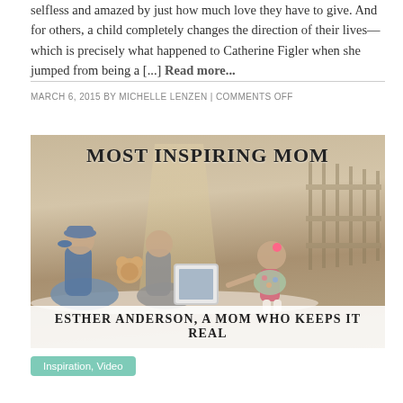selfless and amazed by just how much love they have to give. And for others, a child completely changes the direction of their lives—which is precisely what happened to Catherine Figler when she jumped from being a [...] Read more...
MARCH 6, 2015 BY MICHELLE LENZEN | COMMENTS OFF
[Figure (photo): Blog post image for 'Most Inspiring Mom' featuring a family sitting outdoors on a path. Text overlay reads 'MOST INSPIRING MOM' at top and 'ESTHER ANDERSON, A MOM WHO KEEPS IT REAL' at bottom.]
Inspiration, Video